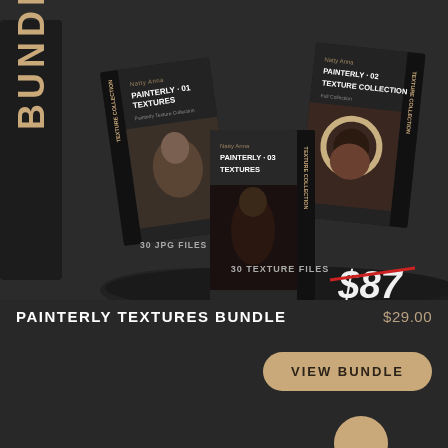[Figure (illustration): 3D product box set showing Painterly Textures Bundle with multiple texture collection books arranged on a dark background platform. Top left shows vertical 'BUNDLE' text in gold. '30 TEXTURE FILES' text visible on the image. '30 JPG FILES' label on one box side. A red strikethrough line crosses '$87' price in white italic text.]
PAINTERLY TEXTURES BUNDLE
$29.00
VIEW BUNDLE